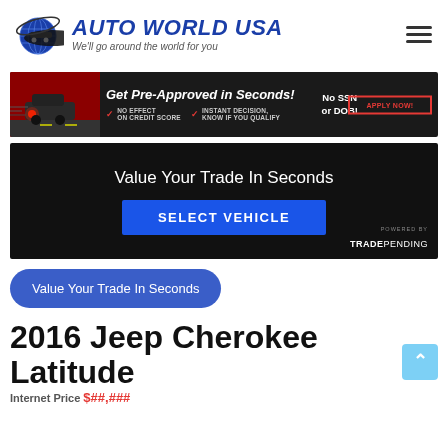[Figure (logo): Auto World USA logo with globe icon and blue italic text 'AUTO WORLD USA' and tagline 'We'll go around the world for you']
[Figure (screenshot): Advertisement banner: 'Get Pre-Approved in Seconds! No SSN or DOB!' with checkmarks for 'NO EFFECT ON CREDIT SCORE' and 'INSTANT DECISION, KNOW IF YOU QUALIFY' and red 'APPLY NOW!' button]
[Figure (screenshot): Trade-in widget on dark background: 'Value Your Trade In Seconds' heading with blue 'SELECT VEHICLE' button and 'POWERED BY TRADEPENDING' branding]
Value Your Trade In Seconds
2016 Jeep Cherokee Latitude
Internet Price $##,###